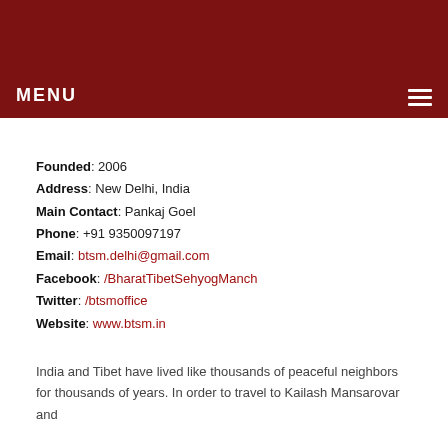MENU
Founded: 2006
Address: New Delhi, India
Main Contact: Pankaj Goel
Phone: +91 9350097197
Email: btsm.delhi@gmail.com
Facebook: /BharatTibetSehyogManch
Twitter: /btsmoffice
Website: www.btsm.in
India and Tibet have lived like thousands of peaceful neighbors for thousands of years. In order to travel to Kailash Mansarovar and